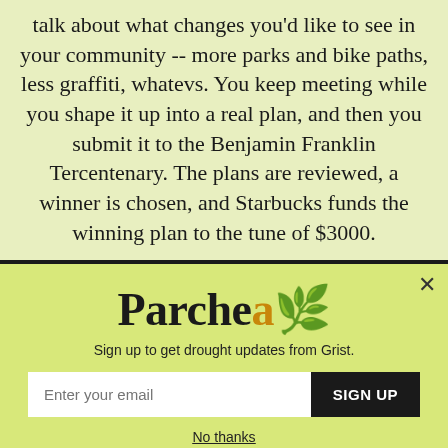talk about what changes you'd like to see in your community -- more parks and bike paths, less graffiti, whatevs. You keep meeting while you shape it up into a real plan, and then you submit it to the Benjamin Franklin Tercentenary. The plans are reviewed, a winner is chosen, and Starbucks funds the winning plan to the tune of $3000.
Parched
Sign up to get drought updates from Grist.
Enter your email
SIGN UP
No thanks